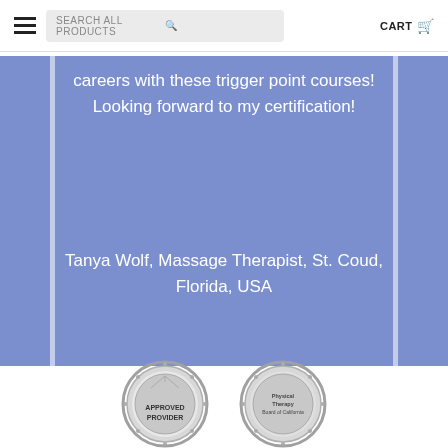SEARCH ALL PRODUCTS  CART
careers with these trigger point courses! Looking forward to my certification!
Tanya Wolf, Massage Therapist, St. Coud, Florida, USA
[Figure (logo): Two circular certification/approval badges: 'Approved Provider' badge and 'Physical Therapy Board of California' badge, both in silver/grey tones]